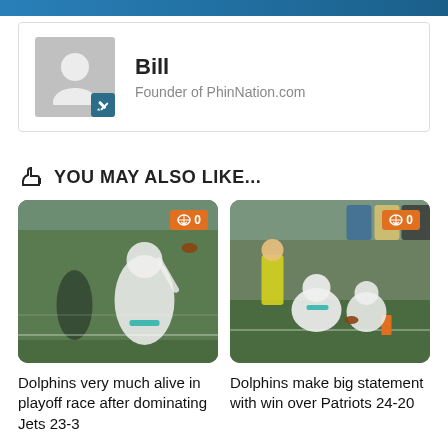Bill
Founder of PhinNation.com
YOU MAY ALSO LIKE...
[Figure (photo): Miami Dolphins player celebrating on the football field, kneeling with arms raised]
[Figure (photo): Miami Dolphins players near the end zone during a game against the Patriots]
Dolphins very much alive in playoff race after dominating Jets 23-3
Dolphins make big statement with win over Patriots 24-20